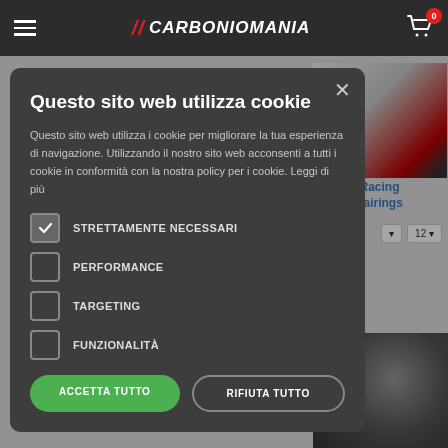// CARBONIOMANIA [cart: 0]
[Figure (screenshot): Background website showing Racing Fairings product category with motorcycle image, dropdowns, and product thumbnails]
Questo sito web utilizza cookie
Questo sito web utilizza i cookie per migliorare la tua esperienza di navigazione. Utilizzando il nostro sito web acconsenti a tutti i cookie in conformità con la nostra policy per i cookie. Leggi di più
STRETTAMENTE NECESSARI
PERFORMANCE
TARGETING
FUNZIONALITÀ
ACCETTA TUTTO | RIFIUTA TUTTO